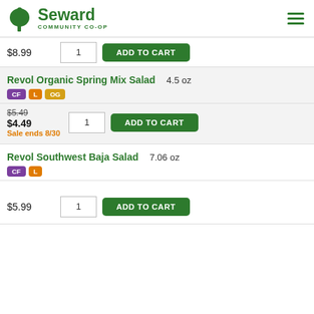Seward Community Co-op
$8.99  1  ADD TO CART
Revol Organic Spring Mix Salad  4.5 oz  CF L OG
$5.49 $4.49 Sale ends 8/30  1  ADD TO CART
Revol Southwest Baja Salad  7.06 oz  CF L
$5.99  1  ADD TO CART